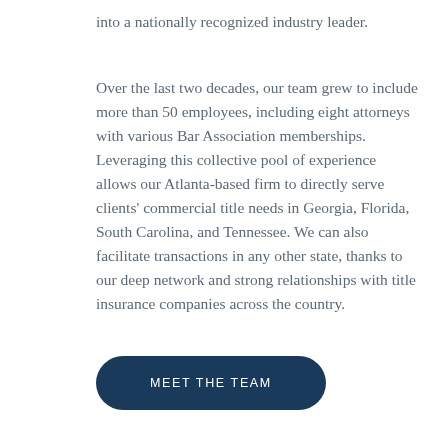into a nationally recognized industry leader.
Over the last two decades, our team grew to include more than 50 employees, including eight attorneys with various Bar Association memberships. Leveraging this collective pool of experience allows our Atlanta-based firm to directly serve clients' commercial title needs in Georgia, Florida, South Carolina, and Tennessee. We can also facilitate transactions in any other state, thanks to our deep network and strong relationships with title insurance companies across the country.
MEET THE TEAM